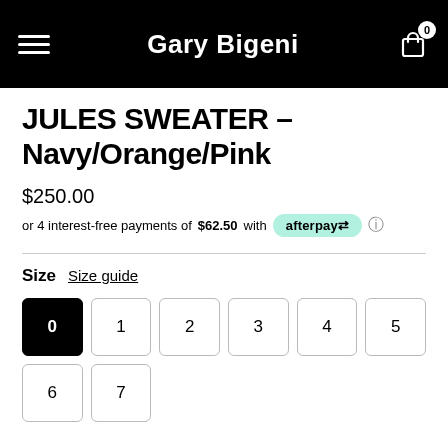Gary Bigeni
JULES SWEATER - Navy/Orange/Pink
$250.00
or 4 interest-free payments of $62.50 with afterpay
Size  Size guide
Size options: 0 (selected), 1, 2, 3, 4, 5, 6, 7